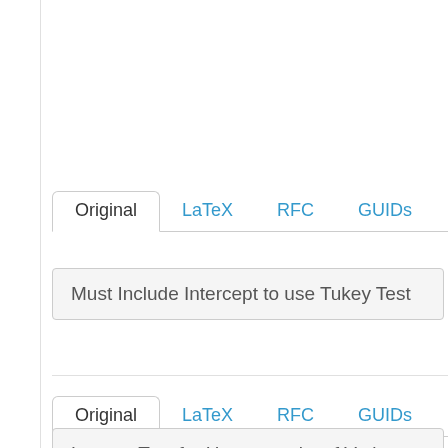[Figure (screenshot): Tab bar with tabs: Original (active), LaTeX, RFC, GUIDs]
Must Include Intercept to use Tukey Test
[Figure (screenshot): Second tab bar with tabs: Original (active), LaTeX, RFC, GUIDs]
Levene Test for Homogeneity of Variance